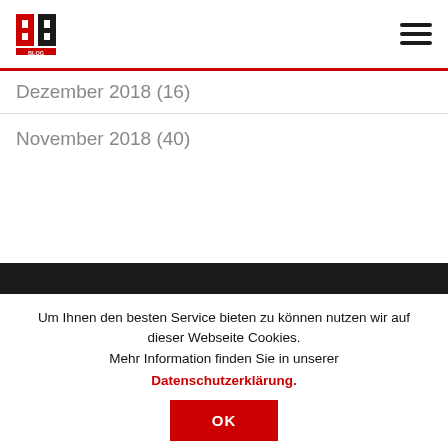[Figure (logo): Brand logo with red and black BB letters]
[Figure (other): Hamburger menu icon with three dark horizontal lines]
Dezember 2018 (16)
November 2018 (40)
Um Ihnen den besten Service bieten zu können nutzen wir auf dieser Webseite Cookies.
Mehr Information finden Sie in unserer
Datenschutzerklärung.
OK